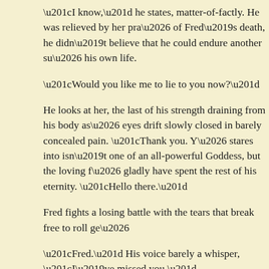“I know,” he states, matter-of-factly. He was relieved by her pra… of Fred’s death, he didn’t believe that he could endure another su… his own life.
“Would you like me to lie to you now?”
He looks at her, the last of his strength draining from his body as… eyes drift slowly closed in barely concealed pain. “Thank you. Y… stares into isn’t one of an all-powerful Goddess, but the loving f… gladly have spent the rest of his eternity. “Hello there.”
Fred fights a losing battle with the tears that break free to roll ge…
“Fred.” His voice barely a whisper, “I’ve missed you.”
She places gentle, loving kisses against his lips, then with her te… reverently against his forehead. “It’s gonna be OK. It won’t hurt… his life slowly ebbs away, her grief intensifies, causing the tears… her heart. “We’ll be together.”
“I—I love you.”
She smiles tenderly at him even as her tears continue to flow. “I…
We la… a ti… her life… in… her… which… at… fi…